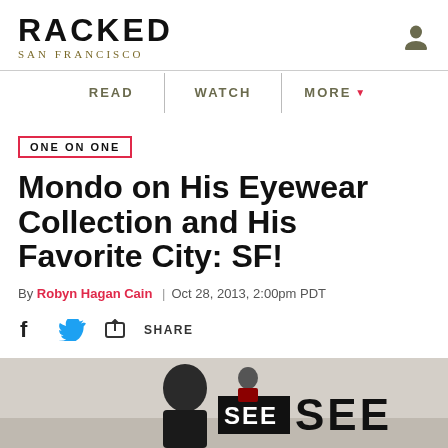RACKED SAN FRANCISCO
READ | WATCH | MORE
ONE ON ONE
Mondo on His Eyewear Collection and His Favorite City: SF!
By Robyn Hagan Cain | Oct 28, 2013, 2:00pm PDT
SHARE
[Figure (photo): Photo of person holding SEE sign at a SEE eyewear store]